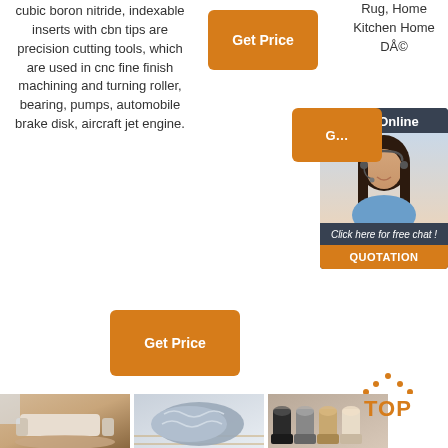cubic boron nitride, indexable inserts with cbn tips are precision cutting tools, which are used in cnc fine finish machining and turning roller, bearing, pumps, automobile brake disk, aircraft jet engine.
[Figure (other): Orange 'Get Price' button (top center)]
Rug, Home Kitchen Home DÅ©
[Figure (other): Orange 'Get Price' button (right middle area)]
[Figure (other): 24/7 Online chat sidebar with customer service representative photo, 'Click here for free chat!' text, and orange QUOTATION button]
[Figure (other): Orange 'Get Price' button (bottom left)]
[Figure (photo): Photo of a living room with a fluffy fur rug on the floor]
[Figure (photo): Photo of a fluffy grey sheepskin rug on a wooden floor]
[Figure (photo): Photo of UGG-style boots in various colors]
[Figure (logo): TOP logo with orange dots above the word TOP]